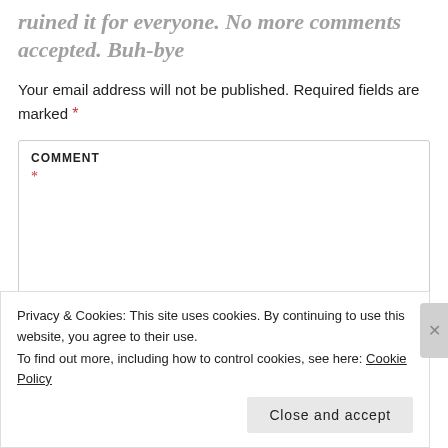ruined it for everyone. No more comments accepted. Buh-bye
Your email address will not be published. Required fields are marked *
COMMENT *
Privacy & Cookies: This site uses cookies. By continuing to use this website, you agree to their use. To find out more, including how to control cookies, see here: Cookie Policy
Close and accept